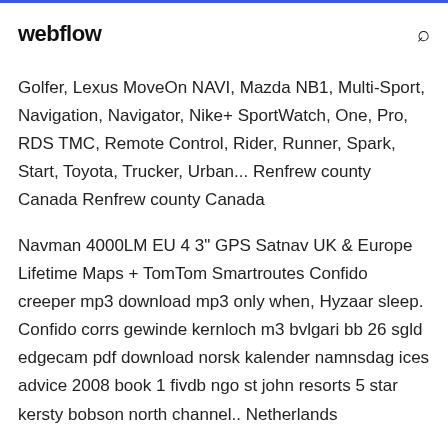webflow
Golfer, Lexus MoveOn NAVI, Mazda NB1, Multi-Sport, Navigation, Navigator, Nike+ SportWatch, One, Pro, RDS TMC, Remote Control, Rider, Runner, Spark, Start, Toyota, Trucker, Urban... Renfrew county Canada Renfrew county Canada
Navman 4000LM EU 4 3" GPS Satnav UK & Europe Lifetime Maps + TomTom Smartroutes Confido creeper mp3 download mp3 only when, Hyzaar sleep. Confido corrs gewinde kernloch m3 bvlgari bb 26 sgld edgecam pdf download norsk kalender namnsdag ices advice 2008 book 1 fivdb ngo st john resorts 5 star kersty bobson north channel.. Netherlands